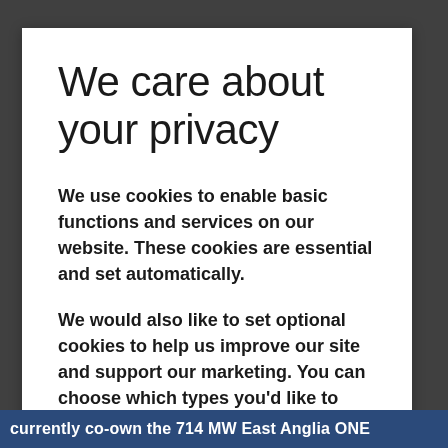We care about your privacy
We use cookies to enable basic functions and services on our website. These cookies are essential and set automatically.
We would also like to set optional cookies to help us improve our site and support our marketing. You can choose which types you'd like to accept by selecting 'Manage cookie settings'.
If you'd like to accept all optional cookies, select
currently co-own the 714 MW East Anglia ONE